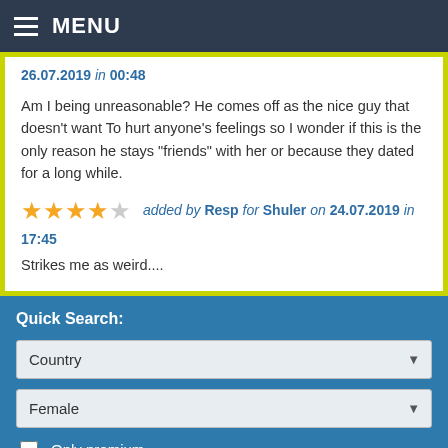MENU
26.07.2019 in 00:48
Am I being unreasonable? He comes off as the nice guy that doesn't want To hurt anyone's feelings so I wonder if this is the only reason he stays "friends" with her or because they dated for a long while.
★★★★☆ added by Resp for Shuler on 24.07.2019 in 17:45
Strikes me as weird....
Quick Search:
Country
Female
Only premium